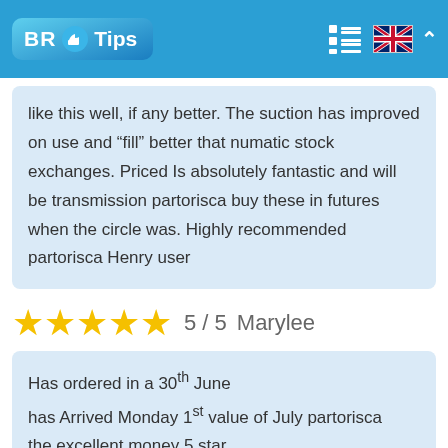BR Tips
like this well, if any better. The suction has improved on use and “fill” better that numatic stock exchanges. Priced Is absolutely fantastic and will be transmission partorisca buy these in futures when the circle was. Highly recommended partorisca Henry user
5 / 5   Marylee
Has ordered in a 30th June
has Arrived Monday 1st value of July partorisca
the excellent money 5 star.